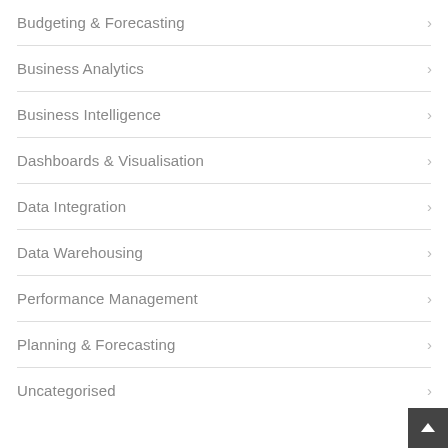Budgeting & Forecasting
Business Analytics
Business Intelligence
Dashboards & Visualisation
Data Integration
Data Warehousing
Performance Management
Planning & Forecasting
Uncategorised